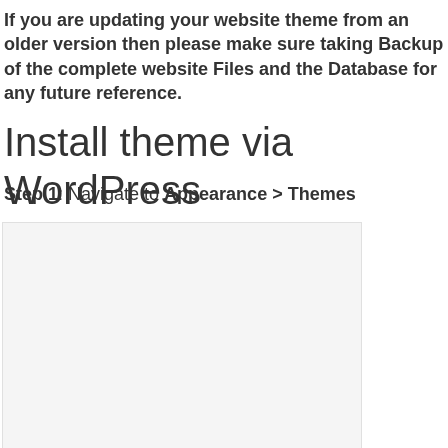If you are updating your website theme from an older version then please make sure taking Backup of the complete website Files and the Database for any future reference.
Install theme via WordPress
Step 1: Navigate to Appearance > Themes
[Figure (screenshot): Screenshot placeholder showing WordPress Appearance > Themes interface]